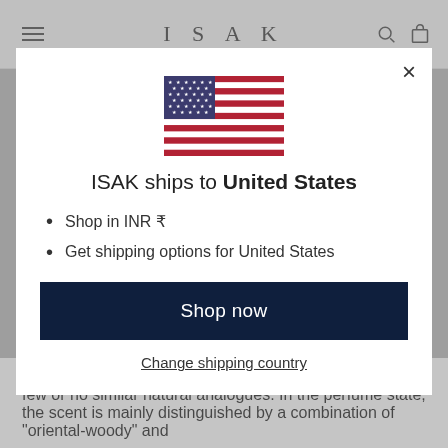ISAK
[Figure (illustration): US flag emoji/icon displayed in center of modal]
ISAK ships to United States
Shop in INR ₹
Get shipping options for United States
Shop now
Change shipping country
The odour of agarwood is complex and pleasing, with few or no similar natural analogues. In the perfume state, the scent is mainly distinguished by a combination of "oriental-woody" and